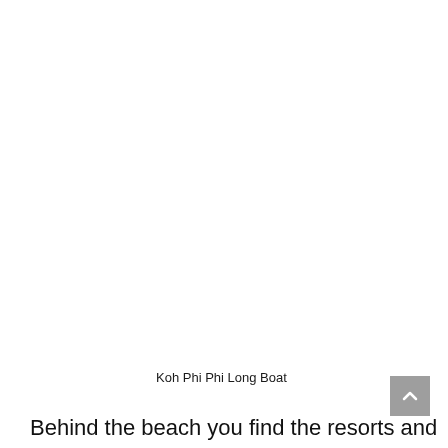[Figure (photo): Photo placeholder area for Koh Phi Phi Long Boat image (white/blank in this crop)]
Koh Phi Phi Long Boat
Behind the beach you find the resorts and